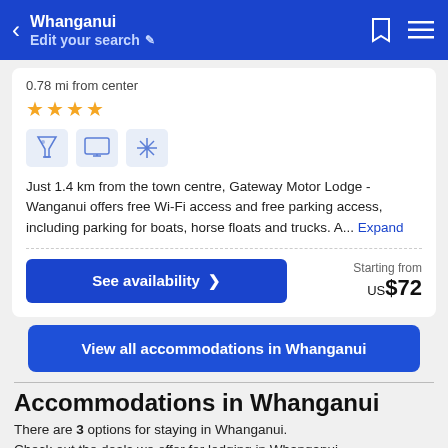Whanganui | Edit your search
0.78 mi from center
★★★★
[Figure (infographic): Three amenity icons: cocktail/bar, TV/monitor, snowflake/AC]
Just 1.4 km from the town centre, Gateway Motor Lodge - Wanganui offers free Wi-Fi access and free parking access, including parking for boats, horse floats and trucks. A... Expand
See availability >
Starting from US$72
View all accommodations in Whanganui
Accommodations in Whanganui
There are 3 options for staying in Whanganui. Check out the deals we offer for lodging in Whanganui.
[Figure (photo): Partial hotel/accommodation photo thumbnails at bottom]